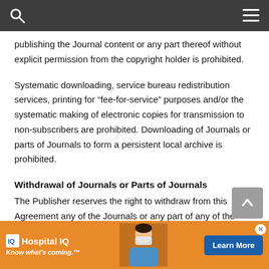[Navigation bar with search and menu icons]
publishing the Journal content or any part thereof without explicit permission from the copyright holder is prohibited.
Systematic downloading, service bureau redistribution services, printing for “fee-for-service” purposes and/or the systematic making of electronic copies for transmission to non-subscribers are prohibited. Downloading of Journals or parts of Journals to form a persistent local archive is prohibited.
Withdrawal of Journals or Parts of Journals
The Publisher reserves the right to withdraw from this Agreement any of the Journals or any part of any of the Journ… ourt order,
[Figure (other): Advertisement banner for Hospital IQ with logo, tagline 'Know what’s coming.', medical professional image, and 'Learn More' button]